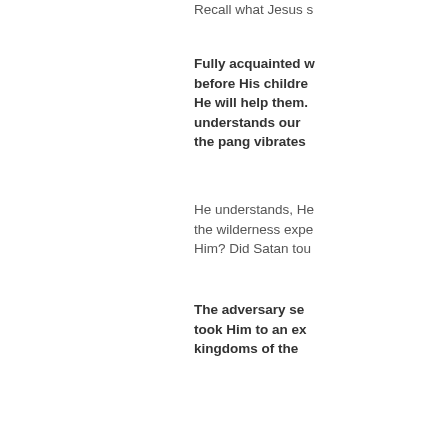Recall what Jesus s
Fully acquainted with the temptations placed before His children, He knows how to help. He will help them. One who fully understands our sorrows, who knows when the pang vibrates
He understands, He went through the wilderness experience. Did Satan touch Him? Did Satan tou
The adversary se took Him to an ex kingdoms of the
What did Satan do? body experience. H feel so exhilarating. angel; that's what J
in order to awe Ch set Him on a pinn